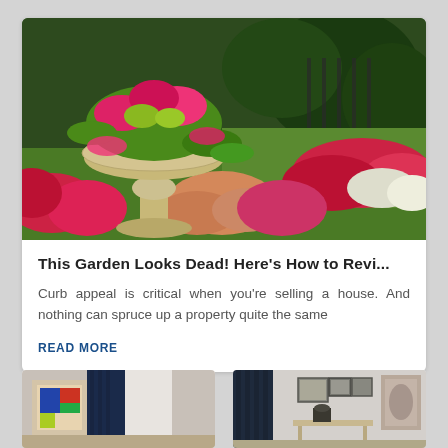[Figure (photo): A beautiful garden with a large ornate stone birdbath/planter overflowing with colorful pink and yellow flowers and green foliage. In the background there are lush green lawns and beds of red and white flowers.]
This Garden Looks Dead! Here’s How to Revi...
Curb appeal is critical when you’re selling a house. And nothing can spruce up a property quite the same
READ MORE
[Figure (photo): Interior room with navy curtains and colorful artwork on wall]
[Figure (photo): Interior room with dark curtains and framed pictures on wall]